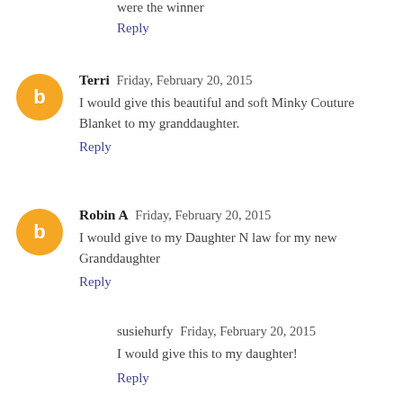were the winner
Reply
Terri  Friday, February 20, 2015
I would give this beautiful and soft Minky Couture Blanket to my granddaughter.
Reply
Robin A  Friday, February 20, 2015
I would give to my Daughter N law for my new Granddaughter
Reply
susiehurfy  Friday, February 20, 2015
I would give this to my daughter!
Reply